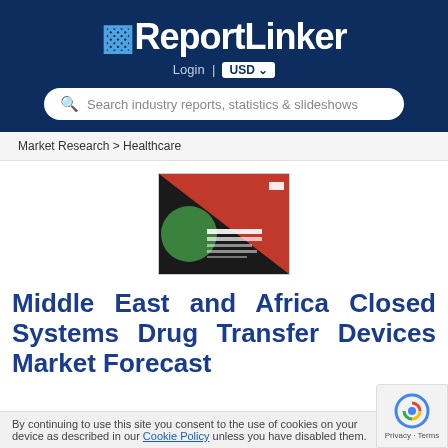.iReportLinker
Login | USD
Search industry reports, statistics & slideshows
Market Research > Healthcare
[Figure (illustration): Report cover image with red diagonal stripe on dark background with small text lines]
Middle East and Africa Closed Systems Drug Transfer Devices Market Forecast
By continuing to use this site you consent to the use of cookies on your device as described in our Cookie Policy unless you have disabled them.